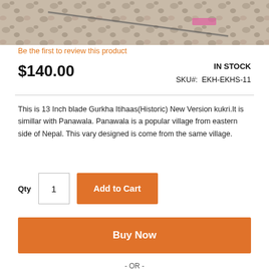[Figure (photo): Product photo showing a Gurkha kukri knife on a stone/pebble surface]
Be the first to review this product
$140.00
IN STOCK
SKU#:  EKH-EKHS-11
This is 13 Inch blade Gurkha Itihaas(Historic) New Version kukri.It is simillar with Panawala. Panawala is a popular village from eastern side of Nepal. This vary designed is come from the same village.
Qty  1  Add to Cart
Buy Now
- OR -
[Figure (logo): Check out with PayPal button]